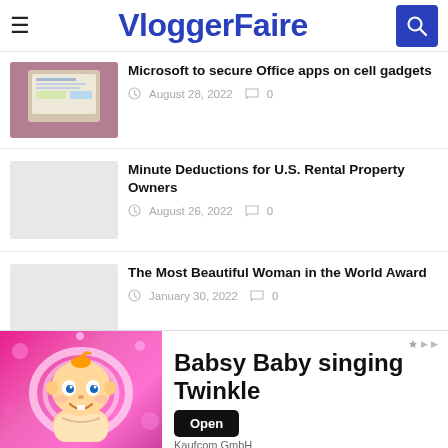VloggerFaire
Microsoft to secure Office apps on cell gadgets
August 28, 2022  0
Minute Deductions for U.S. Rental Property Owners
August 26, 2022  0
The Most Beautiful Woman in the World Award
January 30, 2022  0
[Figure (illustration): Ad banner for Babsy Baby singing Twinkle app by Kaufcom GmbH, featuring animated baby character on pink background with Open button]